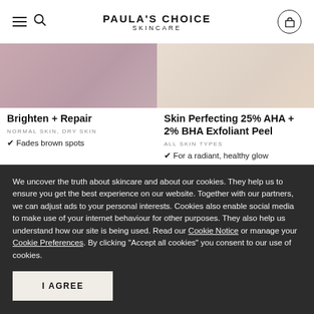PAULA'S CHOICE SKINCARE
[Figure (photo): Product image left - pink/mauve gradient background]
Brighten + Repair
NORMAL SKIN, DRY SKIN
✔ Fades brown spots
[Figure (photo): Product image right - cream/beige gradient background]
Skin Perfecting 25% AHA + 2% BHA Exfoliant Peel
ALL SKIN TYPES
✔ For a radiant, healthy glow
We uncover the truth about skincare and about our cookies. They help us to ensure you get the best experience on our website. Together with our partners, we can adjust ads to your personal interests. Cookies also enable social media to make use of your internet behaviour for other purposes. They also help us understand how our site is being used. Read our Cookie Notice or manage your Cookie Preferences. By clicking "Accept all cookies" you consent to our use of cookies.
I AGREE
Only accept required cookies